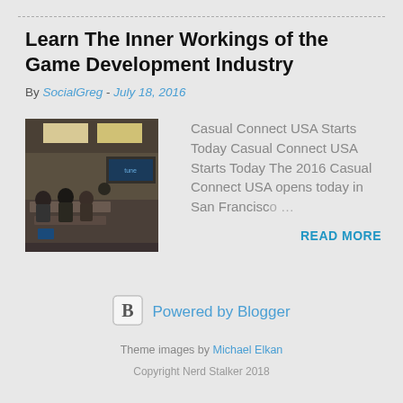Learn The Inner Workings of the Game Development Industry
By SocialGreg - July 18, 2016
[Figure (photo): Indoor conference scene with people seated at tables under ceiling lights, with a digital sign visible]
Casual Connect USA Starts Today Casual Connect USA Starts Today The 2016 Casual Connect USA opens today in San Francisco …
READ MORE
[Figure (logo): Blogger 'B' logo icon in a rounded square]
Powered by Blogger
Theme images by Michael Elkan
Copyright Nerd Stalker 2018